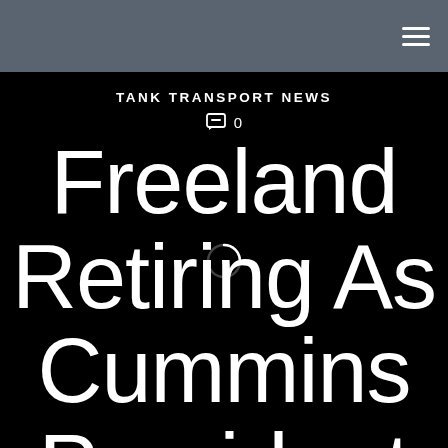TANK TRANSPORT NEWS
💬 0
Freeland Retiring As Cummins President